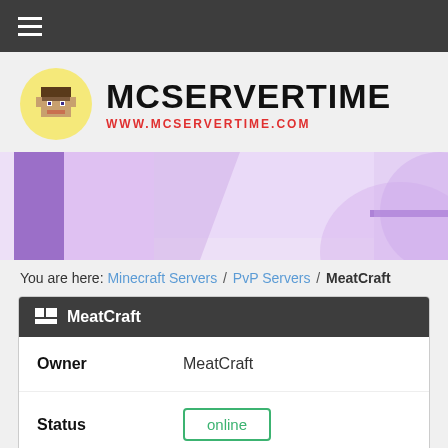Navigation menu header bar
[Figure (logo): MCServerTime logo with Minecraft character head in yellow circle and bold MCSERVERTIME text with www.mcservertime.com subtitle in red]
[Figure (illustration): Purple and lavender banner/header image with abstract shapes]
You are here: Minecraft Servers / PvP Servers / MeatCraft
| Field | Value |
| --- | --- |
| Owner | MeatCraft |
| Status | online |